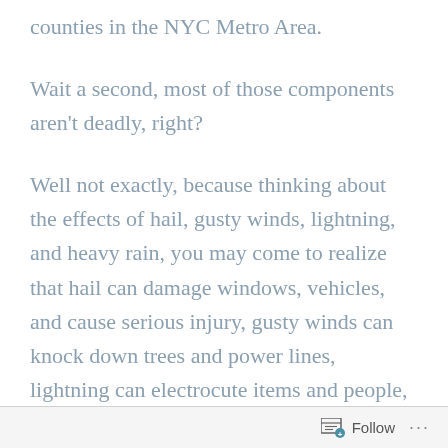counties in the NYC Metro Area.
Wait a second, most of those components aren't deadly, right?
Well not exactly, because thinking about the effects of hail, gusty winds, lightning, and heavy rain, you may come to realize that hail can damage windows, vehicles, and cause serious injury, gusty winds can knock down trees and power lines, lightning can electrocute items and people, and last, but now least, heavy rains can
Follow ...